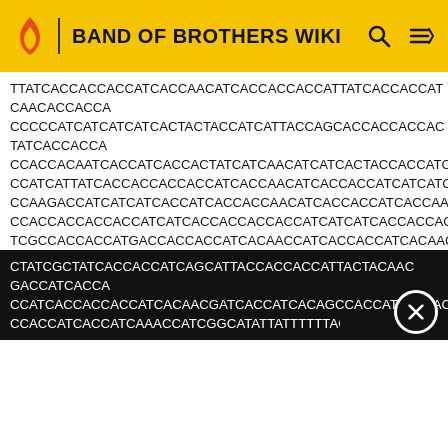BAND OF BROTHERS WIKI
TTATCACCACCACCATCACCAACATCACCACCACCATTATCACCACCAT CAACACCACCA
CCCCCATCATCATCATCACTACTACCATCATTACCAGCACCACCACCAC TATCACCACCA
CCACCACAAT CACCATCACCACTATCATCAACATCATCACTACCACCATCACCAACACCA
CCATCATTATCACCACCACCACCATCACCAACATCACCACCATCATCATCACCACCATCA
CCAAGACCATCATCATCACCATCACCACCAACATCACCACCATCACCAACACC ACCATCA
CCACCACCACCACCATCATCACCACCACCACCATCATCATCACCACCACCGCCATCATCA
TCGCCACCACCATGACCACCACCATCACAACCATCACCACCATCACAACCACCATCATCA
CTATCGCTATCACCACCATCAGCATTACCACCACCATTACTACAACGACCATCACCA
CCATCACCACCACCATCACAACGATCACCATCACAGCCACCATCATCACCACCACCA
CCACCATCACCATCAAAC CATCGGCATATTATTTTTTAGAATTTGT